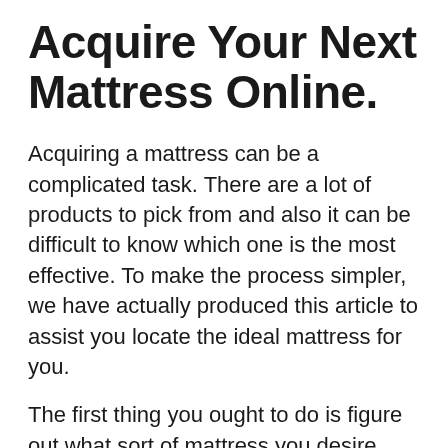Acquire Your Next Mattress Online.
Acquiring a mattress can be a complicated task. There are a lot of products to pick from and also it can be difficult to know which one is the most effective. To make the process simpler, we have actually produced this article to assist you locate the ideal mattress for you.
The first thing you ought to do is figure out what sort of mattress you desire. There are three main sorts of mattresses: innerspring, memory foam, and also latex foam. Innerspring bed mattress are popular due to the fact that they use firm assistance yet may not be as comfy as various other kinds